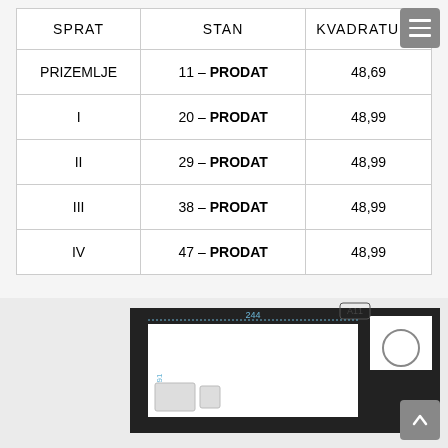| SPRAT | STAN | KVADRATURA |
| --- | --- | --- |
| PRIZEMLJE | 11 – PRODAT | 48,69 |
| I | 20 – PRODAT | 48,99 |
| II | 29 – PRODAT | 48,99 |
| III | 38 – PRODAT | 48,99 |
| IV | 47 – PRODAT | 48,99 |
[Figure (engineering-diagram): Floor plan architectural drawing showing apartment layout with room dimensions, walls, and label A11]